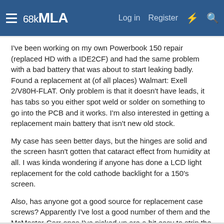68kMLA  Log in  Register
I've been working on my own Powerbook 150 repair (replaced HD with a IDE2CF) and had the same problem with a bad battery that was about to start leaking badly. Found a replacement at (of all places) Walmart: Exell 2/V80H-FLAT. Only problem is that it doesn't have leads, it has tabs so you either spot weld or solder on something to go into the PCB and it works. I'm also interested in getting a replacement main battery that isn't new old stock.
My case has seen better days, but the hinges are solid and the screen hasn't gotten that cataract effect from humidity at all. I was kinda wondering if anyone has done a LCD light replacement for the cold cathode backlight for a 150's screen.
Also, has anyone got a good source for replacement case screws? Apparently I've lost a good number of them and the McMaster-Carr ones I've picked up are a bit easy to strip the torx out of.